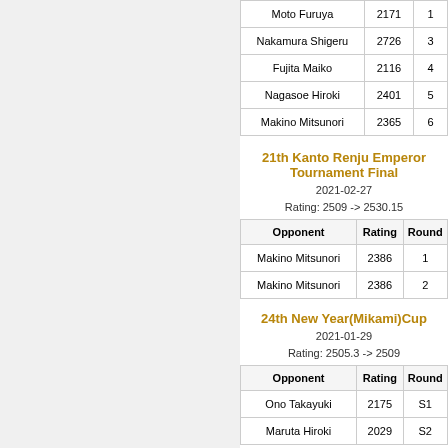| Opponent | Rating | Round |
| --- | --- | --- |
| Moto Furuya (partial) | 2171 | 1 |
| Nakamura Shigeru | 2726 | 3 |
| Fujita Maiko | 2116 | 4 |
| Nagasoe Hiroki | 2401 | 5 |
| Makino Mitsunori | 2365 | 6 |
21th Kanto Renju Emperor Tournament Final
2021-02-27
Rating: 2509 -> 2530.15
| Opponent | Rating | Round |
| --- | --- | --- |
| Makino Mitsunori | 2386 | 1 |
| Makino Mitsunori | 2386 | 2 |
24th New Year(Mikami)Cup
2021-01-29
Rating: 2505.3 -> 2509
| Opponent | Rating | Round |
| --- | --- | --- |
| Ono Takayuki | 2175 | S1 |
| Maruta Hiroki | 2029 | S2 |